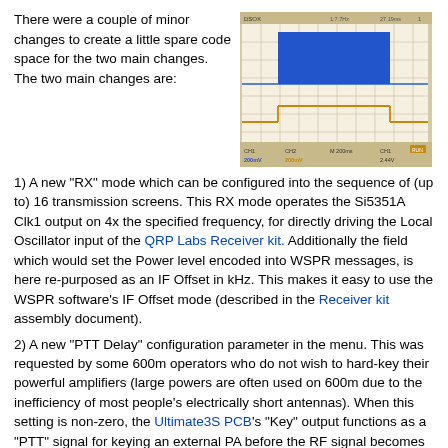There were a couple of minor changes to create a little spare code space for the two main changes. The two main changes are:
[Figure (screenshot): Oscilloscope screenshot showing a blue rectangular pulse waveform at top and an orange/gold step waveform below it, on a grid background. Appears to be a scope trace of RF/PTT signals.]
1) A new "RX" mode which can be configured into the sequence of (up to) 16 transmission screens. This RX mode operates the Si5351A Clk1 output on 4x the specified frequency, for directly driving the Local Oscillator input of the QRP Labs Receiver kit. Additionally the field which would set the Power level encoded into WSPR messages, is here re-purposed as an IF Offset in kHz. This makes it easy to use the WSPR software's IF Offset mode (described in the Receiver kit assembly document).
2) A new "PTT Delay" configuration parameter in the menu. This was requested by some 600m operators who do not wish to hard-key their powerful amplifiers (large powers are often used on 600m due to the inefficiency of most people's electrically short antennas). When this setting is non-zero, the Ultimate3S PCB's "Key" output functions as a "PTT" signal for keying an external PA before the RF signal becomes operational. The delay parameter specifies the number of milliseconds (0..999ms) that "Key" becomes high before the RF signal starts i.e. the actual key-down, and the same delay is also appended on key-up before "Key" becomes low again. This 'scope trace shows a demonstration 1 second key-down transmission (top) and the